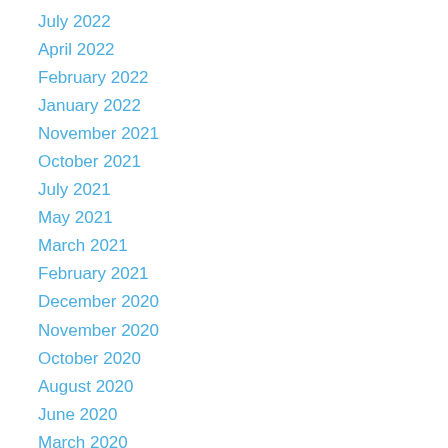July 2022
April 2022
February 2022
January 2022
November 2021
October 2021
July 2021
May 2021
March 2021
February 2021
December 2020
November 2020
October 2020
August 2020
June 2020
March 2020
February 2020
October 2019
July 2019
April 2019